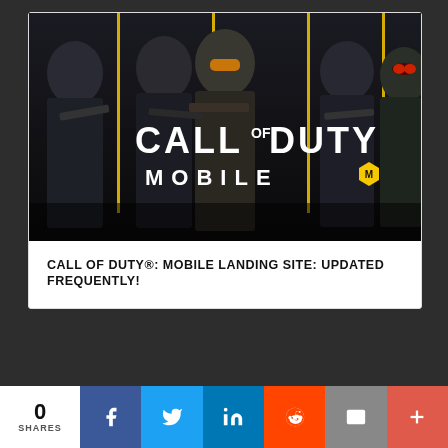[Figure (photo): Call of Duty Mobile promotional image showing five armed military characters with the game logo 'CALL OF DUTY MOBILE' in bold white text with a yellow hexagon emblem]
CALL OF DUTY®: MOBILE LANDING SITE: UPDATED FREQUENTLY!
For the latest intel, be sure to visit the Call of Duty: Mobile website. Also check out www.callofduty.com, www.youtube.com/callofduty, and
0 SHARES | Facebook | Twitter | LinkedIn | Reddit | Email | More